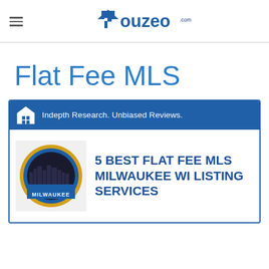Houzeo.com
Flat Fee MLS
[Figure (infographic): Houzeo branded card with Milwaukee city logo and text '5 BEST FLAT FEE MLS MILWAUKEE WI LISTING SERVICES'. Header bar says 'Indepth Research. Unbiased Reviews.']